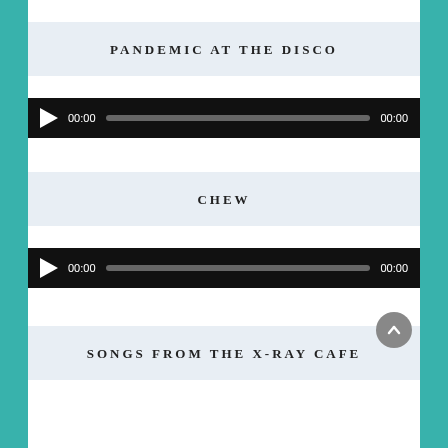PANDEMIC AT THE DISCO
[Figure (other): Audio player bar with play button, 00:00 timestamps and progress track]
CHEW
[Figure (other): Audio player bar with play button, 00:00 timestamps and progress track]
SONGS FROM THE X-RAY CAFE